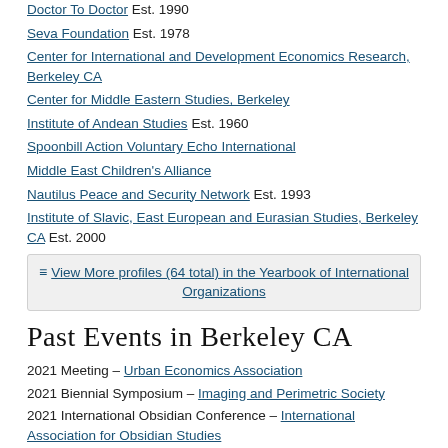Doctor To Doctor Est. 1990
Seva Foundation Est. 1978
Center for International and Development Economics Research, Berkeley CA
Center for Middle Eastern Studies, Berkeley
Institute of Andean Studies Est. 1960
Spoonbill Action Voluntary Echo International
Middle East Children's Alliance
Nautilus Peace and Security Network Est. 1993
Institute of Slavic, East European and Eurasian Studies, Berkeley CA Est. 2000
View More profiles (64 total) in the Yearbook of International Organizations
Past Events in Berkeley CA
2021 Meeting – Urban Economics Association
2021 Biennial Symposium – Imaging and Perimetric Society
2021 International Obsidian Conference – International Association for Obsidian Studies
2020 Meeting – Urban Economics Association
2020 Biennial Symposium – Imaging and Perimetric Society